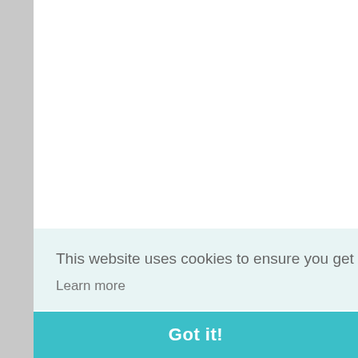I lo... oth...
My... how...
Re[ply]
[Figure (illustration): Orange blogger avatar circle with white B icon, number 5 comment marker]
I lo... of n... fee...
Re[ply]
6. A[...]
The... Se... http...
This website uses cookies to ensure you get the best experience on our website. Learn more
Got it!